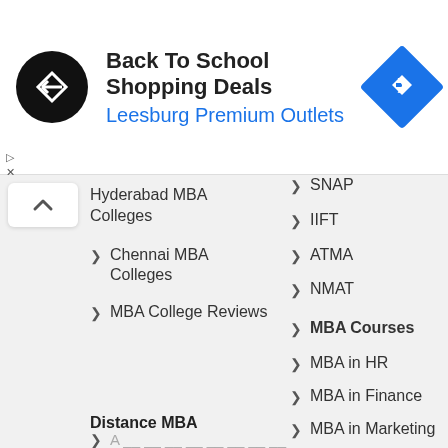[Figure (advertisement): Ad banner: Back To School Shopping Deals at Leesburg Premium Outlets with circular logo and blue arrow icon]
Hyderabad MBA Colleges
Chennai MBA Colleges
MBA College Reviews
SNAP
IIFT
ATMA
NMAT
MBA Courses
MBA in HR
MBA in Finance
MBA in Marketing
MBA in IT
MBA in Hospital Administration
Distance MBA